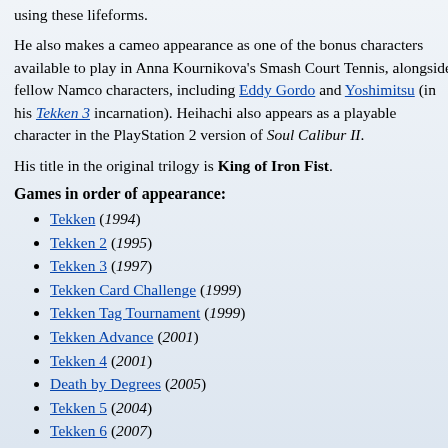using these lifeforms.
He also makes a cameo appearance as one of the bonus characters available to play in Anna Kournikova's Smash Court Tennis, alongside fellow Namco characters, including Eddy Gordo and Yoshimitsu (in his Tekken 3 incarnation). Heihachi also appears as a playable character in the PlayStation 2 version of Soul Calibur II.
His title in the original trilogy is King of Iron Fist.
Games in order of appearance:
Tekken (1994)
Tekken 2 (1995)
Tekken 3 (1997)
Tekken Card Challenge (1999)
Tekken Tag Tournament (1999)
Tekken Advance (2001)
Tekken 4 (2001)
Death by Degrees (2005)
Tekken 5 (2004)
Tekken 6 (2007)
Tekken Tag Tournament 2 (2011)
Tekken 3D Prime Edition (2012)
Tekken Card Tournament (2013)
Tekken Revolution (2013)